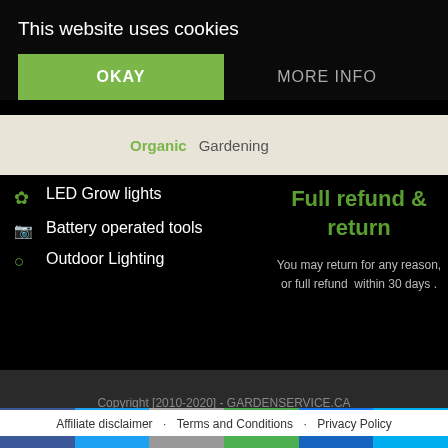This website uses cookies
OKAY
MORE INFO
Organic Gardening
LED Grow lights
Battery operated tools
Outdoor Lighting
Full refund & return
You may return for any reason, or full refund  within 30 days .
Copyright [2010-2020] - GARDENSERVICE.CA
Affiliate disclaimer · Terms and Conditions · Privacy Policy